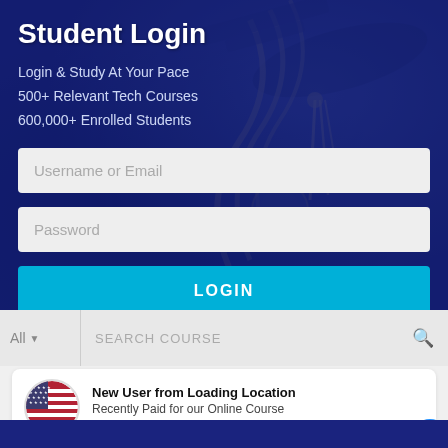Student Login
Login & Study At Your Pace
500+ Relevant Tech Courses
600,000+ Enrolled Students
[Figure (screenshot): Username or Email text input field with light grey background]
[Figure (screenshot): Password text input field with light grey background]
[Figure (screenshot): LOGIN button in cyan/turquoise color]
[Figure (screenshot): Search bar with All dropdown and SEARCH COURSE placeholder and magnifier icon]
[Figure (infographic): Notification card: US flag circle icon, New User from Loading Location, Recently Paid for our Online Course, 7 minutes ago. Blue chat bubble button at bottom right.]